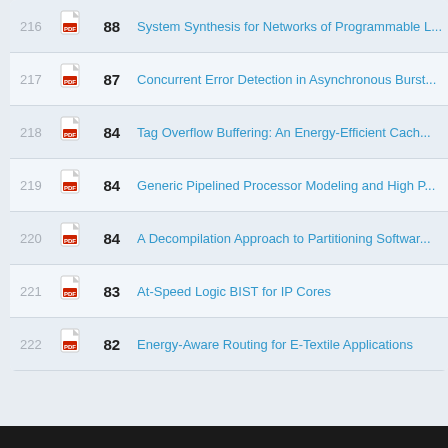| # | PDF | Score | Title |
| --- | --- | --- | --- |
| 216 |  | 88 | System Synthesis for Networks of Programmable... |
| 217 |  | 87 | Concurrent Error Detection in Asynchronous Burst... |
| 218 |  | 84 | Tag Overflow Buffering: An Energy-Efficient Cach... |
| 219 |  | 84 | Generic Pipelined Processor Modeling and High P... |
| 220 |  | 84 | A Decompilation Approach to Partitioning Softwar... |
| 221 |  | 83 | At-Speed Logic BIST for IP Cores |
| 222 |  | 82 | Energy-Aware Routing for E-Textile Applications |